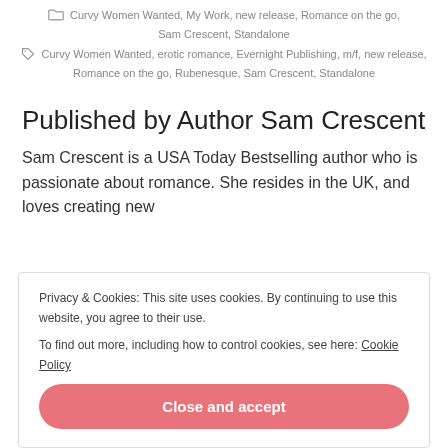Curvy Women Wanted, My Work, new release, Romance on the go, Sam Crescent, Standalone
Curvy Women Wanted, erotic romance, Evernight Publishing, m/f, new release, Romance on the go, Rubenesque, Sam Crescent, Standalone
Published by Author Sam Crescent
Sam Crescent is a USA Today Bestselling author who is passionate about romance. She resides in the UK, and loves creating new
Privacy & Cookies: This site uses cookies. By continuing to use this website, you agree to their use.
To find out more, including how to control cookies, see here: Cookie Policy
Close and accept